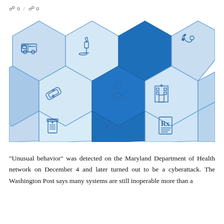0 / 0
[Figure (illustration): A pattern of isometric hexagonal tiles in various shades of blue (light blue, medium blue, dark blue) arranged in a honeycomb layout. Each tile contains a medical/healthcare icon: an ambulance, a microscope, a stethoscope, bandages, a doctor/person, a hospital building, a pill bottle, a syringe/connector, and a prescription document (Rx).]
“Unusual behavior” was detected on the Maryland Department of Health network on December 4 and later turned out to be a cyberattack. The Washington Post says many systems are still inoperable more than a